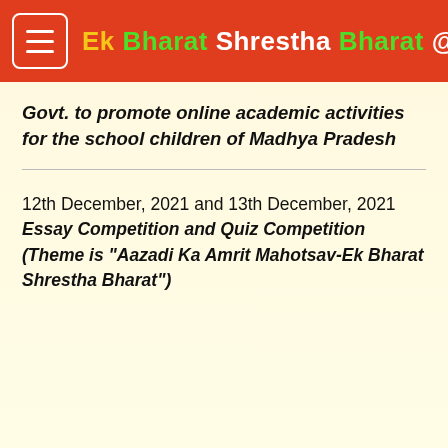Ek Bharat Shreshtha Bharat @IIT Indore
Govt. to promote online academic activities for the school children of Madhya Pradesh
12th December, 2021 and 13th December, 2021
Essay Competition and Quiz Competition (Theme is "Aazadi Ka Amrit Mahotsav-Ek Bharat Shrestha Bharat")